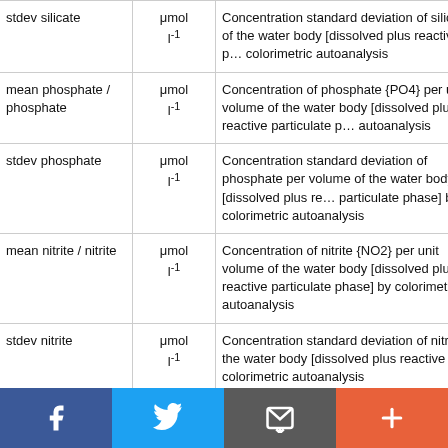| Name | Unit | Description |
| --- | --- | --- |
| stdev silicate | μmol l⁻¹ | Concentration standard deviation of silicate of the water body [dissolved plus reactive particulate phase] by colorimetric autoanalysis |
| mean phosphate / phosphate | μmol l⁻¹ | Concentration of phosphate {PO4} per unit volume of the water body [dissolved plus reactive particulate phase] by colorimetric autoanalysis |
| stdev phosphate | μmol l⁻¹ | Concentration standard deviation of phosphate per unit volume of the water body [dissolved plus reactive particulate phase] by colorimetric autoanalysis |
| mean nitrite / nitrite | μmol l⁻¹ | Concentration of nitrite {NO2} per unit volume of the water body [dissolved plus reactive particulate phase] by colorimetric autoanalysis |
| stdev nitrite | μmol l⁻¹ | Concentration standard deviation of nitrite of the water body [dissolved plus reactive particulate phase] by colorimetric autoanalysis |